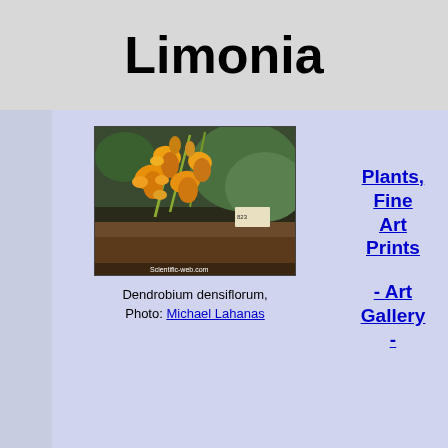Limonia
[Figure (photo): Photo of Dendrobium densiflorum showing orange/yellow orchid flowers hanging on green stems against a dark background. Watermark reads: Scientific-web.com]
Dendrobium densiflorum, Photo: Michael Lahanas
Plants, Fine Art Prints
- Art Gallery -